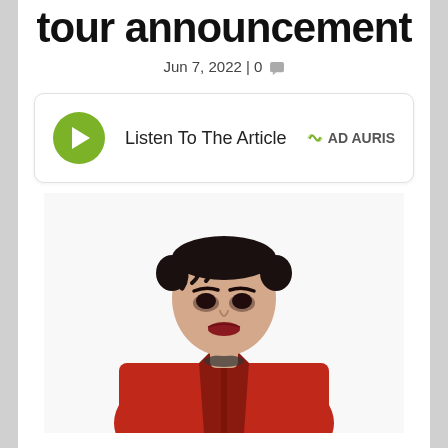tour announcement
Jun 7, 2022 | 0
Listen To The Article   AD AURIS
[Figure (photo): A person with short dark hair wearing a red jacket, digitally rendered or illustrated, shown from the waist up against a white background.]